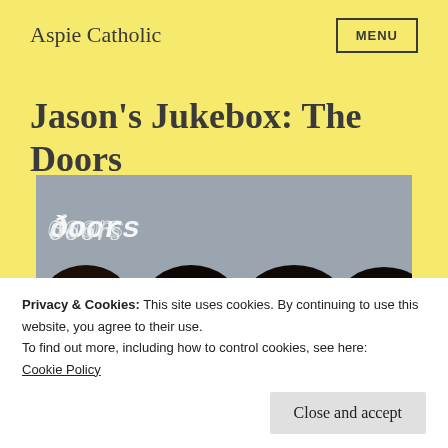Aspie Catholic
Jason's Jukebox: The Doors
[Figure (photo): Album cover photo of The Doors band members — four young men with dark hair shown from shoulders up against a grey background, with the stylized 'doors' logo text in the upper left corner.]
Privacy & Cookies: This site uses cookies. By continuing to use this website, you agree to their use.
To find out more, including how to control cookies, see here:
Cookie Policy
Close and accept